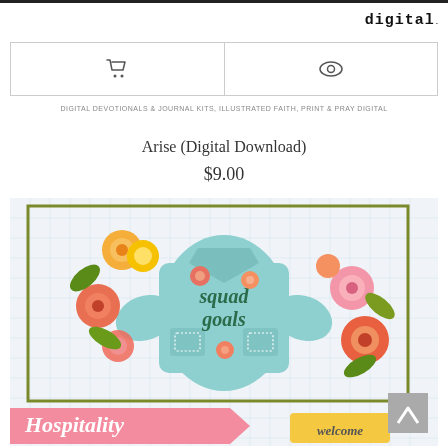digital
DIGITAL DEVOTIONALS & JOURNAL KITS, ILLUSTRATED FAITH, PRINT & PRAY DIGITAL
Arise (Digital Download)
$9.00
[Figure (illustration): Product preview image showing a decorative denim jacket with 'squad goals' text and floral designs on a grid background, with a pink 'Hospitality' banner and 'Welcome' tag at the bottom.]